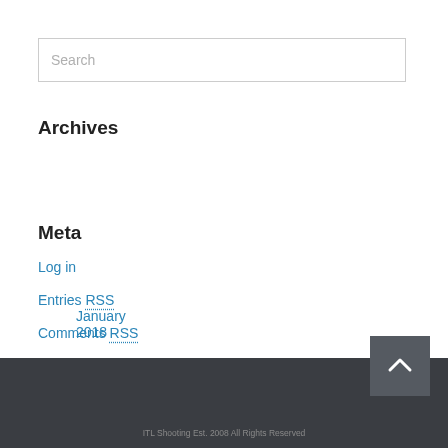Search
Archives
January 2018
Meta
Log in
Entries RSS
Comments RSS
WordPress.org
ITL Shooting Est. 2008 All Rights Reserved